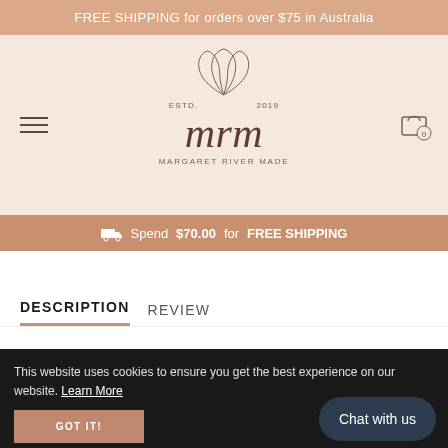FREE SHIPPING for orders over $75 in Australia
[Figure (logo): MRM Margaret River Made logo with lotus flower, ESTD. 2019]
Spend $70.00 for FREE SHIPPING
DESCRIPTION   REVIEW
This website uses cookies to ensure you get the best experience on our website. Learn More
GOT IT!
Chat with us